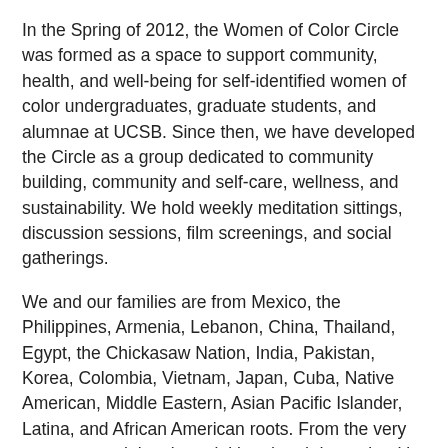In the Spring of 2012, the Women of Color Circle was formed as a space to support community, health, and well-being for self-identified women of color undergraduates, graduate students, and alumnae at UCSB. Since then, we have developed the Circle as a group dedicated to community building, community and self-care, wellness, and sustainability. We hold weekly meditation sittings, discussion sessions, film screenings, and social gatherings.
We and our families are from Mexico, the Philippines, Armenia, Lebanon, China, Thailand, Egypt, the Chickasaw Nation, India, Pakistan, Korea, Colombia, Vietnam, Japan, Cuba, Native American, Middle Eastern, Asian Pacific Islander, Latina, and African American roots. From the very start, our work has been initiated and determined by students to address a need for a formal, student-led space that unites women of color at UCSB across age, discipline, and ethnic boundaries. We are a collective of women, queer, immigrant, and working class mothers and students of color.
For more information about the Women of Color Circle,